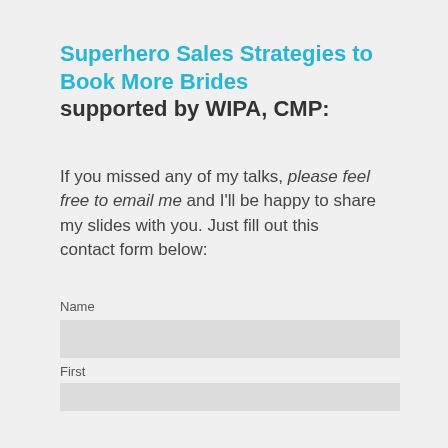Superhero Sales Strategies to Book More Brides supported by WIPA, CMP:
If you missed any of my talks, please feel free to email me and I'll be happy to share my slides with you.  Just fill out this contact form below:
Name
First